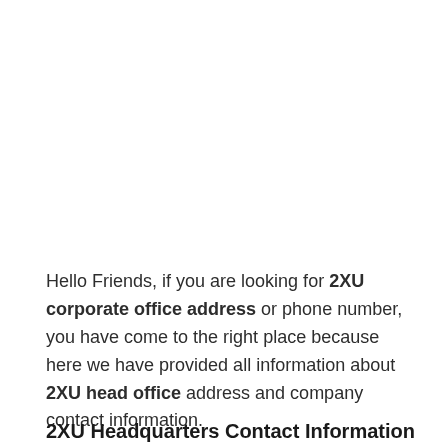Hello Friends, if you are looking for 2XU corporate office address or phone number, you have come to the right place because here we have provided all information about 2XU head office address and company contact information.
2XU Headquarters Contact Information